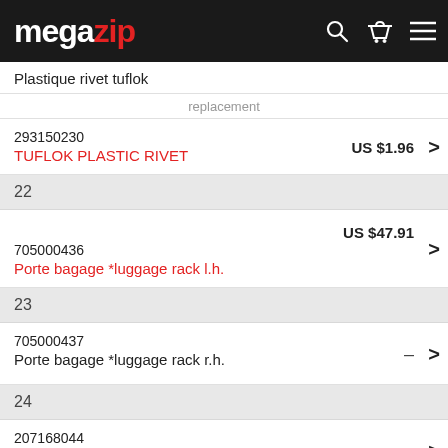megazip
Plastique rivet tuflok
replacement
293150230 TUFLOK PLASTIC RIVET US $1.96
22
705000436 Porte bagage *luggage rack l.h. US $47.91
23
705000437 Porte bagage *luggage rack r.h.
24
207168044 Screw-hex.cap din.933
25